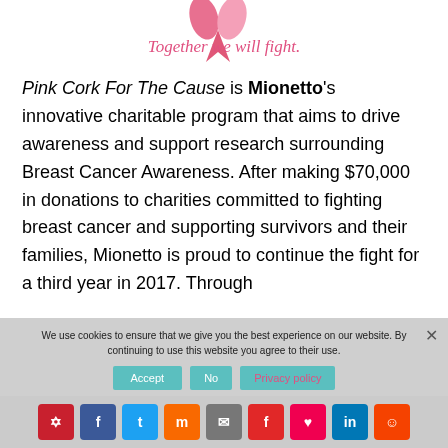[Figure (illustration): Pink ribbon and slogan 'Together we will fight.' in pink italic text at the top of the page]
Pink Cork For The Cause is Mionetto's innovative charitable program that aims to drive awareness and support research surrounding Breast Cancer Awareness. After making $70,000 in donations to charities committed to fighting breast cancer and supporting survivors and their families, Mionetto is proud to continue the fight for a third year in 2017. Through
We use cookies to ensure that we give you the best experience on our website. By continuing to use this website you agree to their use.